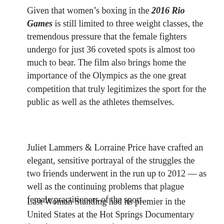Given that women's boxing in the 2016 Rio Games is still limited to three weight classes, the tremendous pressure that the female fighters undergo for just 36 coveted spots is almost too much to bear. The film also brings home the importance of the Olympics as the one great competition that truly legitimizes the sport for the public as well as the athletes themselves.
Juliet Lammers & Lorraine Price have crafted an elegant, sensitive portrayal of the struggles the two friends underwent in the run up to 2012 — as well as the continuing problems that plague female practitioners of the sport.
Last Woman Standing had its premier in the United States at the Hot Springs Documentary film festival and was a featured entry at the Big Sky Documentary Film Festival in Montana in mid-February.  The film, an absolute must see, is now